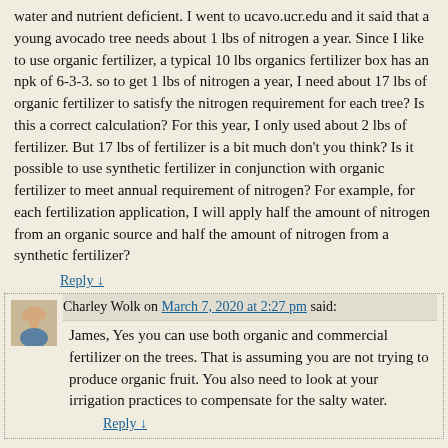water and nutrient deficient. I went to ucavo.ucr.edu and it said that a young avocado tree needs about 1 lbs of nitrogen a year. Since I like to use organic fertilizer, a typical 10 lbs organics fertilizer box has an npk of 6-3-3. so to get 1 lbs of nitrogen a year, I need about 17 lbs of organic fertilizer to satisfy the nitrogen requirement for each tree? Is this a correct calculation? For this year, I only used about 2 lbs of fertilizer. But 17 lbs of fertilizer is a bit much don't you think? Is it possible to use synthetic fertilizer in conjunction with organic fertilizer to meet annual requirement of nitrogen? For example, for each fertilization application, I will apply half the amount of nitrogen from an organic source and half the amount of nitrogen from a synthetic fertilizer?
Reply ↓
Charley Wolk on March 7, 2020 at 2:27 pm said:
James, Yes you can use both organic and commercial fertilizer on the trees. That is assuming you are not trying to produce organic fruit. You also need to look at your irrigation practices to compensate for the salty water.
Reply ↓